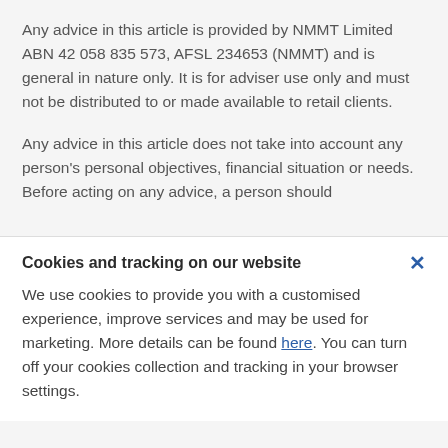Any advice in this article is provided by NMMT Limited ABN 42 058 835 573, AFSL 234653 (NMMT) and is general in nature only. It is for adviser use only and must not be distributed to or made available to retail clients.
Any advice in this article does not take into account any person's personal objectives, financial situation or needs. Before acting on any advice, a person should
Cookies and tracking on our website
We use cookies to provide you with a customised experience, improve services and may be used for marketing. More details can be found here. You can turn off your cookies collection and tracking in your browser settings.